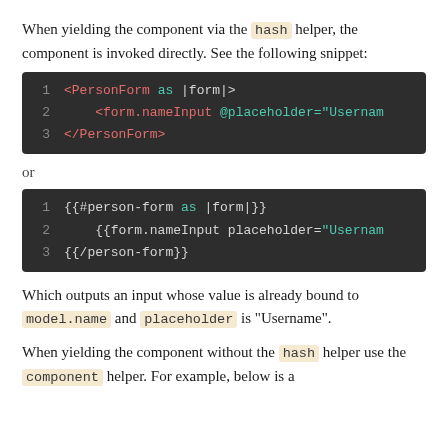When yielding the component via the hash helper, the component is invoked directly. See the following snippet:
[Figure (screenshot): Code block showing: 1  <PersonForm as |form|>  2    <form.nameInput @placeholder="Usernam  3  </PersonForm>]
or
[Figure (screenshot): Code block showing: 1  {{#person-form as |form|}}  2    {{form.nameInput placeholder="Usernam  3  {{/person-form}}]
Which outputs an input whose value is already bound to model.name and placeholder is "Username".
When yielding the component without the hash helper use the component helper. For example, below is a